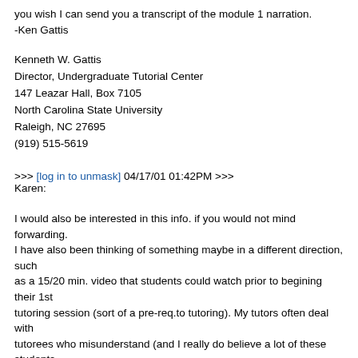you wish I can send you a transcript of the module 1 narration.
-Ken Gattis
Kenneth W. Gattis
Director, Undergraduate Tutorial Center
147 Leazar Hall, Box 7105
North Carolina State University
Raleigh, NC 27695
(919) 515-5619
>>> [log in to unmask] 04/17/01 01:42PM >>>
Karen:

I would also be interested in this info. if you would not mind forwarding.
I have also been thinking of something maybe in a different direction, such
as a 15/20 min. video that students could watch prior to begining their 1st
tutoring session (sort of a pre-req.to tutoring). My tutors often deal with
tutorees who misunderstand (and I really do believe a lot of these students
just don't understand) tutoring process and confuse getting assistance with
the work and having someone else do the work. I think such a video might